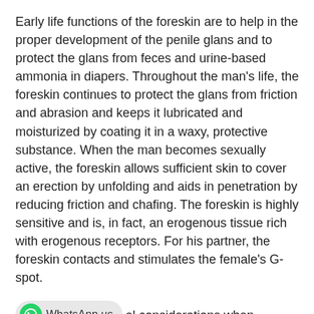Early life functions of the foreskin are to help in the proper development of the penile glans and to protect the glans from feces and urine-based ammonia in diapers. Throughout the man's life, the foreskin continues to protect the glans from friction and abrasion and keeps it lubricated and moisturized by coating it in a waxy, protective substance. When the man becomes sexually active, the foreskin allows sufficient skin to cover an erection by unfolding and aids in penetration by reducing friction and chafing. The foreskin is highly sensitive and is, in fact, an erogenous tissue rich with erogenous receptors. For his partner, the foreskin contacts and stimulates the female's G-spot.
There are several ethical and medical considerations when deciding upon whether your male infant will undergo circumcision. As with any medical procedure, there are complications presented by the choice to circumcise. In March 1999, the American